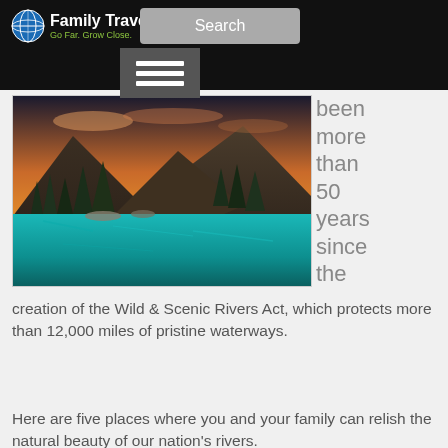FamilyTravel.com — Go Far. Grow Close. | Search
[Figure (photo): A scenic mountain lake with turquoise water, pine trees, and a sunset sky with orange and purple clouds reflecting in the water.]
been more than 50 years since the
creation of the Wild & Scenic Rivers Act, which protects more than 12,000 miles of pristine waterways.
Here are five places where you and your family can relish the natural beauty of our nation's rivers.